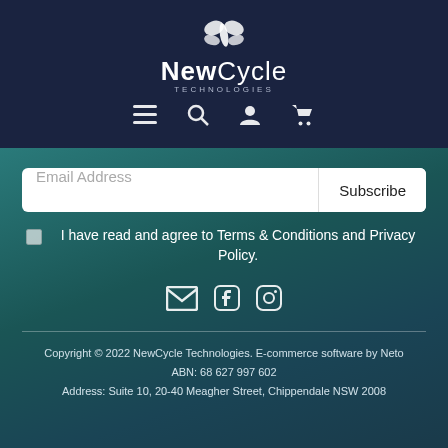[Figure (logo): NewCycle Technologies logo with butterfly icon and navigation icons (hamburger menu, search, user, cart) on dark navy background]
Email Address
Subscribe
I have read and agree to Terms & Conditions and Privacy Policy.
[Figure (infographic): Social media icons: email envelope, Facebook, Instagram]
Copyright © 2022 NewCycle Technologies. E-commerce software by Neto
ABN: 68 627 997 602
Address: Suite 10, 20-40 Meagher Street, Chippendale NSW 2008